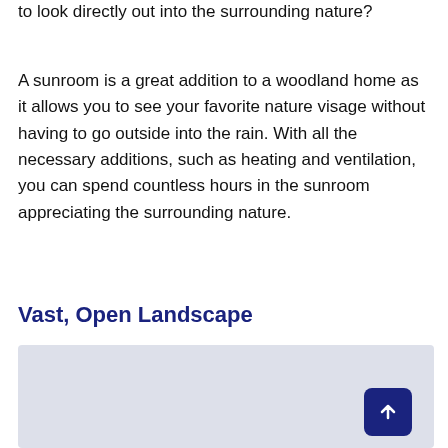to look directly out into the surrounding nature?
A sunroom is a great addition to a woodland home as it allows you to see your favorite nature visage without having to go outside into the rain. With all the necessary additions, such as heating and ventilation, you can spend countless hours in the sunroom appreciating the surrounding nature.
Vast, Open Landscape
[Figure (photo): A placeholder image area with a light blue-grey background, partially visible at the bottom of the page. A dark navy blue rounded-square scroll-to-top button with an upward arrow icon is overlaid in the bottom-right corner.]